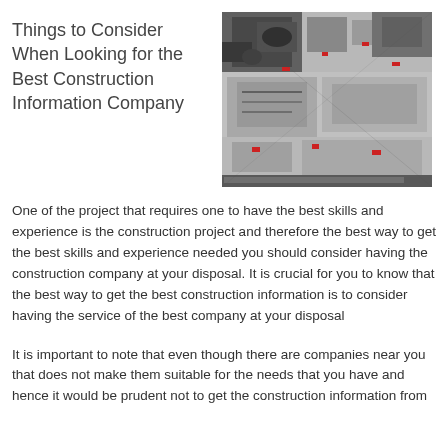Things to Consider When Looking for the Best Construction Information Company
[Figure (photo): Aerial black and white photograph of a construction site showing workers, equipment, and building materials from above.]
One of the project that requires one to have the best skills and experience is the construction project and therefore the best way to get the best skills and experience needed you should consider having the construction company at your disposal. It is crucial for you to know that the best way to get the best construction information is to consider having the service of the best company at your disposal
It is important to note that even though there are companies near you that does not make them suitable for the needs that you have and hence it would be prudent not to get the construction information from